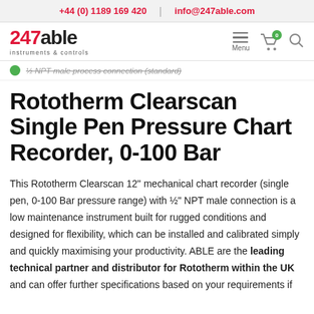+44 (0) 1189 169 420  |  info@247able.com
[Figure (logo): 247able instruments & controls logo with navigation icons (menu, cart with 0 badge, search)]
½ NPT male process connection (standard)
Rototherm Clearscan Single Pen Pressure Chart Recorder, 0-100 Bar
This Rototherm Clearscan 12" mechanical chart recorder (single pen, 0-100 Bar pressure range) with ½" NPT male connection is a low maintenance instrument built for rugged conditions and designed for flexibility, which can be installed and calibrated simply and quickly maximising your productivity. ABLE are the leading technical partner and distributor for Rototherm within the UK and can offer further specifications based on your requirements if